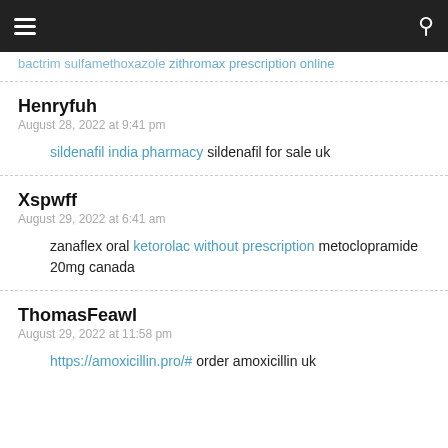Navigation bar with hamburger menu and search icon
bactrim sulfamethoxazole zithromax prescription online
Henryfuh
August 28, 2022 at 9:41 pm
sildenafil india pharmacy sildenafil for sale uk
Xspwff
August 29, 2022 at 6:41 am
zanaflex oral ketorolac without prescription metoclopramide 20mg canada
ThomasFeawl
August 29, 2022 at 11:58 pm
https://amoxicillin.pro/# order amoxicillin uk